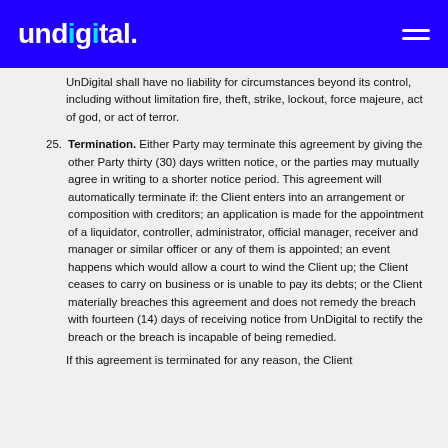undigital.
UnDigital shall have no liability for circumstances beyond its control, including without limitation fire, theft, strike, lockout, force majeure, act of god, or act of terror.
25. Termination. Either Party may terminate this agreement by giving the other Party thirty (30) days written notice, or the parties may mutually agree in writing to a shorter notice period. This agreement will automatically terminate if: the Client enters into an arrangement or composition with creditors; an application is made for the appointment of a liquidator, controller, administrator, official manager, receiver and manager or similar officer or any of them is appointed; an event happens which would allow a court to wind the Client up; the Client ceases to carry on business or is unable to pay its debts; or the Client materially breaches this agreement and does not remedy the breach with fourteen (14) days of receiving notice from UnDigital to rectify the breach or the breach is incapable of being remedied.
If this agreement is terminated for any reason, the Client...